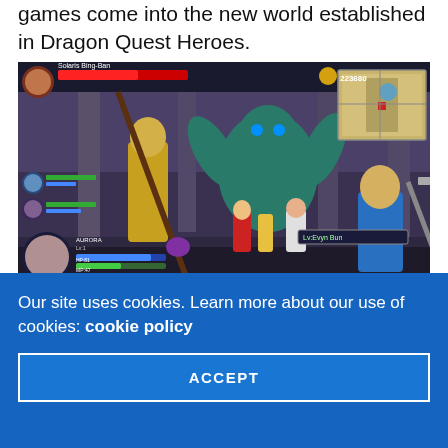games come into the new world established in Dragon Quest Heroes.
[Figure (screenshot): Screenshot from Dragon Quest Heroes video game showing multiple characters in battle against a large teal/blue stone giant in an ornate arena. HUD elements visible including HP/MP bars, character portraits, minimap, and button controls at the bottom.]
No performance issues in sight despite the battles' high headcount.
Our site uses cookies. Learn more about our use of cookies: cookie policy
ACCEPT